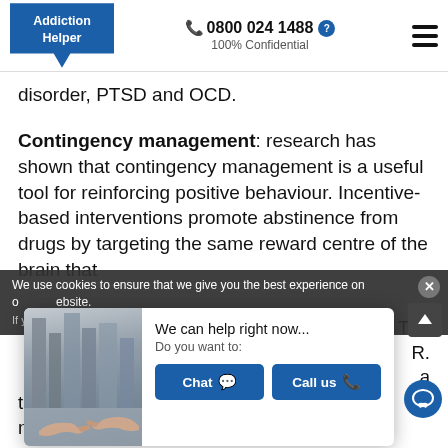Addiction Helper | 📞 0800 024 1488 | 100% Confidential
disorder, PTSD and OCD.
Contingency management: research has shown that contingency management is a useful tool for reinforcing positive behaviour. Incentive-based interventions promote abstinence from drugs by targeting the same reward centre of the brain that
We use cookies to ensure that we give you the best experience on our website. If you continue to use this site we will assume that you are happy with it.
[Figure (photo): Two hands reaching toward each other in front of city buildings — part of a chat/help popup widget]
We can help right now...
Do you want to:
Chat | Call us
to win cash prizes, which you can spend on non-addictive substances.